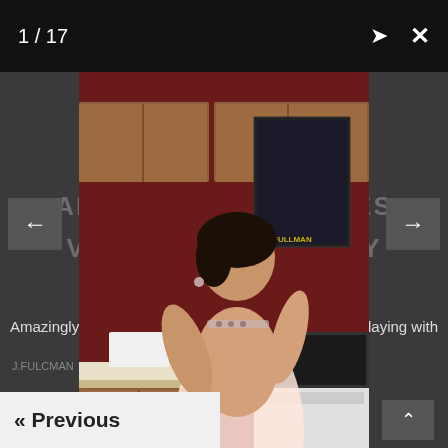1 / 17
Amazingly s...playing with
[Figure (photo): A woman in a sheer white babydoll dress posing in a kitchen with red walls, wood cabinets, and a movie poster on the wall.]
« Previous